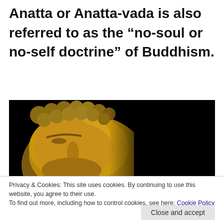Anatta or Anatta-vada is also referred to as the “no-soul or no-self doctrine” of Buddhism.
[Figure (photo): Partial view of a golden Buddha statue head/face on a black background, showing textured gold surface with curled hair detail.]
Privacy & Cookies: This site uses cookies. By continuing to use this website, you agree to their use.
To find out more, including how to control cookies, see here: Cookie Policy
Close and accept